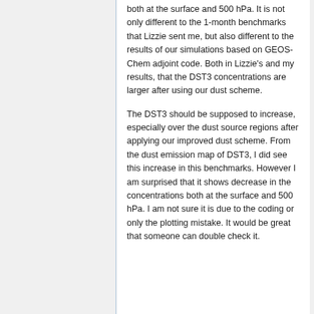both at the surface and 500 hPa. It is not only different to the 1-month benchmarks that Lizzie sent me, but also different to the results of our simulations based on GEOS-Chem adjoint code. Both in Lizzie's and my results, that the DST3 concentrations are larger after using our dust scheme.
The DST3 should be supposed to increase, especially over the dust source regions after applying our improved dust scheme. From the dust emission map of DST3, I did see this increase in this benchmarks. However I am surprised that it shows decrease in the concentrations both at the surface and 500 hPa. I am not sure it is due to the coding or only the plotting mistake. It would be great that someone can double check it.